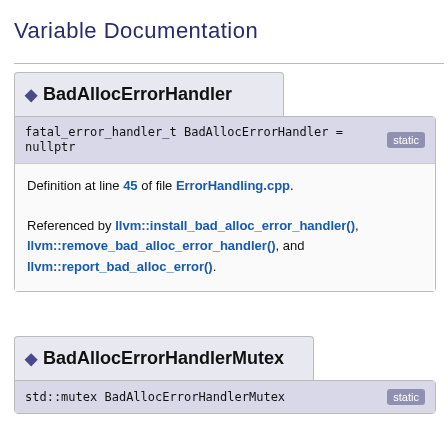Variable Documentation
◆ BadAllocErrorHandler
fatal_error_handler_t BadAllocErrorHandler = nullptr   static
Definition at line 45 of file ErrorHandling.cpp.
Referenced by llvm::install_bad_alloc_error_handler(), llvm::remove_bad_alloc_error_handler(), and llvm::report_bad_alloc_error().
◆ BadAllocErrorHandlerMutex
std::mutex BadAllocErrorHandlerMutex   static